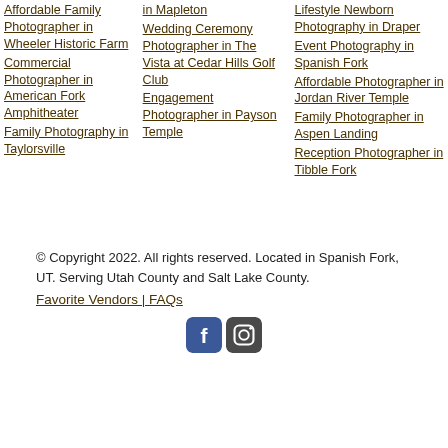Affordable Family Photographer in Wheeler Historic Farm
Commercial Photographer in American Fork Amphitheater
Family Photography in Taylorsville
in Mapleton
Wedding Ceremony Photographer in The Vista at Cedar Hills Golf Club
Engagement Photographer in Payson Temple
Lifestyle Newborn Photography in Draper
Event Photography in Spanish Fork
Affordable Photographer in Jordan River Temple
Family Photographer in Aspen Landing
Reception Photographer in Tibble Fork
© Copyright 2022. All rights reserved. Located in Spanish Fork, UT. Serving Utah County and Salt Lake County.
Favorite Vendors | FAQs